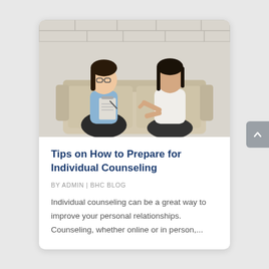[Figure (photo): Two women sitting on a beige couch in a counseling session. One woman with glasses wearing a blue shirt holds a clipboard and pen (therapist), the other woman in a white top is gesturing and speaking. White brick wall background.]
Tips on How to Prepare for Individual Counseling
BY ADMIN | BHC BLOG
Individual counseling can be a great way to improve your personal relationships. Counseling, whether online or in person,...